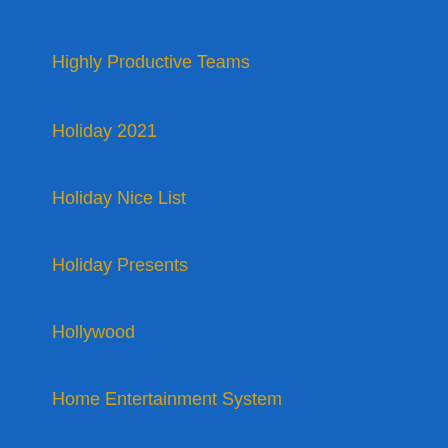Highly Productive Teams
Holiday 2021
Holiday Nice List
Holiday Presents
Hollywood
Home Entertainment System
Homeschooling
Homeschooling Parent
Hotel Himalaya